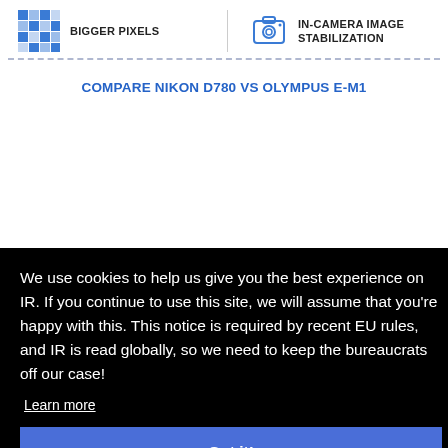[Figure (illustration): Blue pixel/checkerboard pattern icon representing bigger pixels]
BIGGER PIXELS
[Figure (illustration): Camera icon with circular lens representing in-camera image stabilization]
IN-CAMERA IMAGE STABILIZATION
COMPARE NIKON D780 vs OLYMPUS E-M1
We use cookies to help us give you the best experience on IR. If you continue to use this site, we will assume that you're happy with this. This notice is required by recent EU rules, and IR is read globally, so we need to keep the bureaucrats off our case!
Learn more
Got it!
[Figure (photo): Partial view of a Canon EOS 5D camera body on the right side]